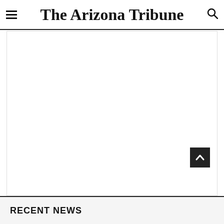The Arizona Tribune
[Figure (other): Large white blank content area with a scroll-to-top button (dark square with upward chevron) in the bottom-right corner]
RECENT NEWS